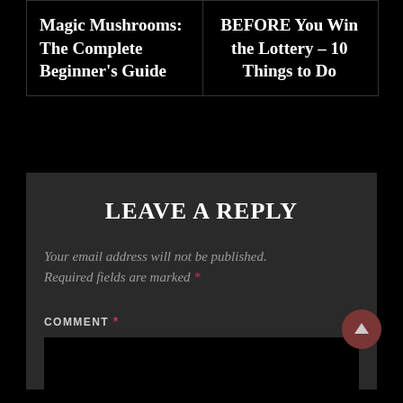Magic Mushrooms: The Complete Beginner's Guide
BEFORE You Win the Lottery – 10 Things to Do
LEAVE A REPLY
Your email address will not be published. Required fields are marked *
COMMENT *